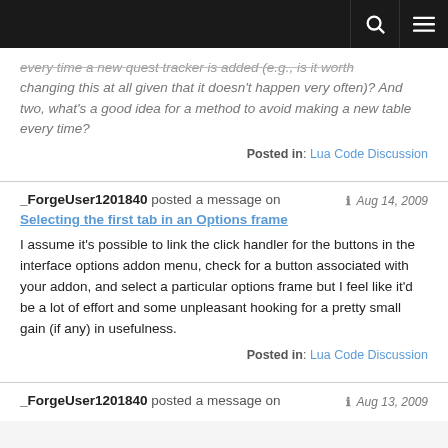[navigation bar with search and menu icons]
every time a new quest tracker is added (e.g., is it worth changing this at all given that it doesn't happen very often)? And two, what's a good idea for a method to avoid making a new table every time?
Posted in: Lua Code Discussion
_ForgeUser1201840 posted a message on  Aug 14, 2009
Selecting the first tab in an Options frame
I assume it's possible to link the click handler for the buttons in the interface options addon menu, check for a button associated with your addon, and select a particular options frame but I feel like it'd be a lot of effort and some unpleasant hooking for a pretty small gain (if any) in usefulness.
Posted in: Lua Code Discussion
_ForgeUser1201840 posted a message on  Aug 13, 2009